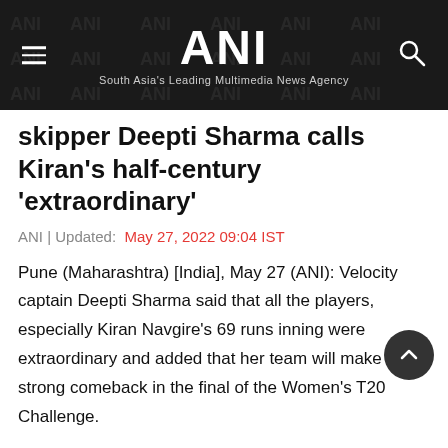ANI | South Asia's Leading Multimedia News Agency
skipper Deepti Sharma calls Kiran's half-century 'extraordinary'
ANI | Updated: May 27, 2022 09:04 IST
Pune (Maharashtra) [India], May 27 (ANI): Velocity captain Deepti Sharma said that all the players, especially Kiran Navgire's 69 runs inning were extraordinary and added that her team will make a strong comeback in the final of the Women's T20 Challenge.
The Trailblazers, despite winning the